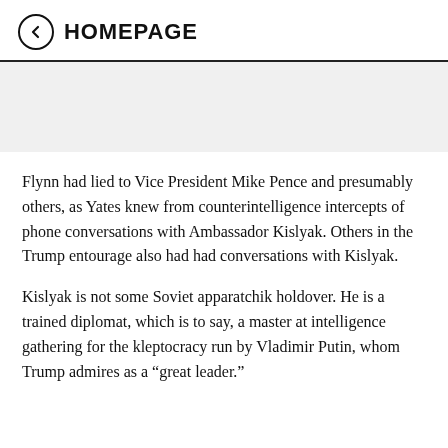← HOMEPAGE
Flynn had lied to Vice President Mike Pence and presumably others, as Yates knew from counterintelligence intercepts of phone conversations with Ambassador Kislyak. Others in the Trump entourage also had had conversations with Kislyak.
Kislyak is not some Soviet apparatchik holdover. He is a trained diplomat, which is to say, a master at intelligence gathering for the kleptocracy run by Vladimir Putin, whom Trump admires as a “great leader.”